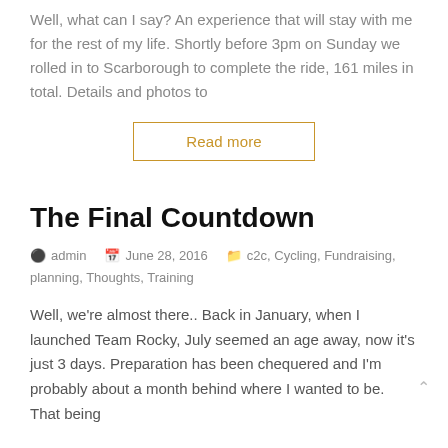Well, what can I say? An experience that will stay with me for the rest of my life. Shortly before 3pm on Sunday we rolled in to Scarborough to complete the ride, 161 miles in total. Details and photos to
Read more
The Final Countdown
admin   June 28, 2016   c2c, Cycling, Fundraising, planning, Thoughts, Training
Well, we're almost there.. Back in January, when I launched Team Rocky, July seemed an age away, now it's just 3 days. Preparation has been chequered and I'm probably about a month behind where I wanted to be. That being